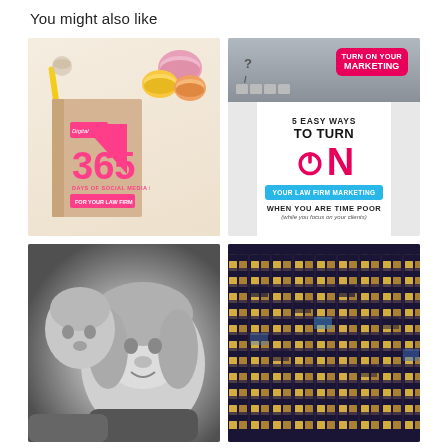You might also like
[Figure (illustration): Book cover showing '365 Days of Social Media Posts For Your Law Firm' with pink number 365, macarons, pencil, and notebook on beige background]
[Figure (infographic): Marketing infographic: keyboard photo with pink 'TURN ON YOUR MARKETING' button, text '5 EASY WAYS TO TURN ON YOUR LAW FIRM MARKETING WHEN YOU ARE TIME POOR (while you focus on your clients)']
[Figure (photo): Black and white photo of two children, one whispering to the other]
[Figure (photo): Night photo of an office building facade with illuminated windows]